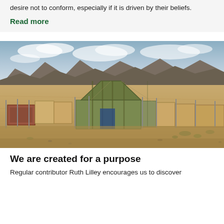desire not to conform, especially if it is driven by their beliefs.
Read more
[Figure (photo): Outdoor desert landscape showing a replica of the biblical Tabernacle — a large tent structure with a green canvas roof surrounded by beige fabric fence panels on poles, set in an arid rocky desert with mountains in the background.]
We are created for a purpose
Regular contributor Ruth Lilley encourages us to discover